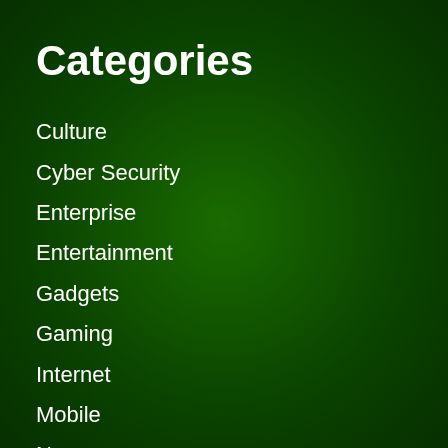Categories
Culture
Cyber Security
Enterprise
Entertainment
Gadgets
Gaming
Internet
Mobile
News
Science